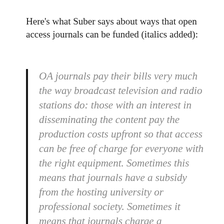Here's what Suber says about ways that open access journals can be funded (italics added):
OA journals pay their bills very much the way broadcast television and radio stations do: those with an interest in disseminating the content pay the production costs upfront so that access can be free of charge for everyone with the right equipment. Sometimes this means that journals have a subsidy from the hosting university or professional society. Sometimes it means that journals charge a processing fee on accepted articles, to